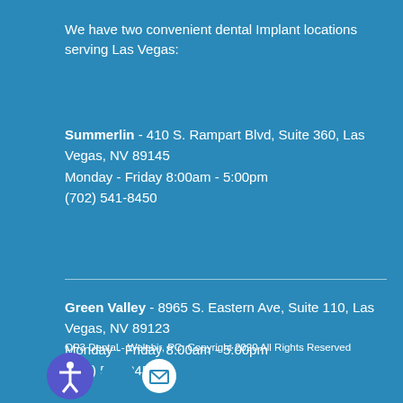We have two convenient dental Implant locations serving Las Vegas:
Summerlin - 410 S. Rampart Blvd, Suite 360, Las Vegas, NV 89145
Monday - Friday 8:00am - 5:00pm
(702) 541-8450
Green Valley - 8965 S. Eastern Ave, Suite 110, Las Vegas, NV 89123
Monday - Friday 8:00am - 5:00pm
(702) 541-8450
OP3 Dental - Welebir, PC; Copyright 2020 All Rights Reserved